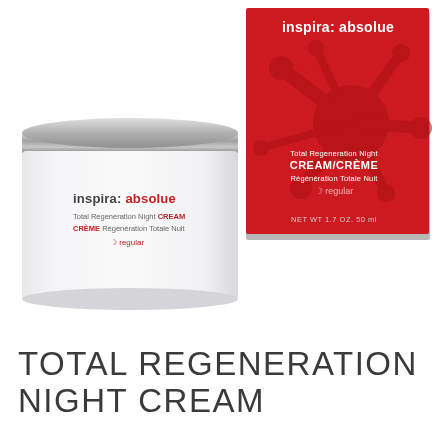[Figure (photo): Product photo showing inspira:absolue Total Regeneration Night Cream jar (white with silver lid, front) and its red product box (back right). The jar label reads 'inspira:absolue Total Regeneration Night CREAM CRÈME Régénération Totale Nuit' with a crescent moon icon. The box is red with a neuron/starburst graphic, 'inspira:absolue' header, 'Total Regeneration Night CREAM/CRÈME Régénération Totale Nuit' text, and 'NET WT 1.7 OZ. 50 ml' at the bottom.]
TOTAL REGENERATION NIGHT CREAM